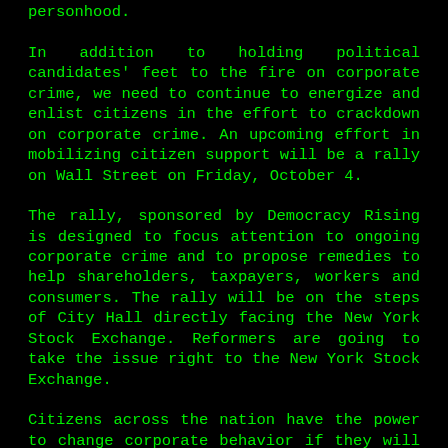such as the doctrine of corporate personhood.
In addition to holding political candidates' feet to the fire on corporate crime, we need to continue to energize and enlist citizens in the effort to crackdown on corporate crime. An upcoming effort in mobilizing citizen support will be a rally on Wall Street on Friday, October 4.
The rally, sponsored by Democracy Rising is designed to focus attention to ongoing corporate crime and to propose remedies to help shareholders, taxpayers, workers and consumers. The rally will be on the steps of City Hall directly facing the New York Stock Exchange. Reformers are going to take the issue right to the New York Stock Exchange.
Citizens across the nation have the power to change corporate behavior if they will stick with the issue over the